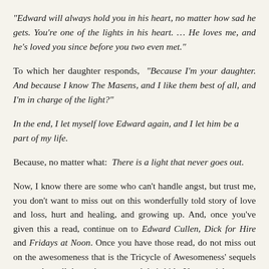“Edward will always hold you in his heart, no matter how sad he gets. You're one of the lights in his heart. … He loves me, and he’s loved you since before you two even met.”
To which her daughter responds, “Because I’m your daughter. And because I know The Masens, and I like them best of all, and I’m in charge of the light?”
In the end, I let myself love Edward again, and I let him be a part of my life.
Because, no matter what:  There is a light that never goes out.
Now, I know there are some who can’t handle angst, but trust me, you don’t want to miss out on this wonderfully told story of love and loss, hurt and healing, and growing up. And, once you’ve given this a read, continue on to Edward Cullen, Dick for Hire and Fridays at Noon. Once you have those read, do not miss out on the awesomeness that is the Tricycle of Awesomeness’ sequels centered on all these characters and their kids. You won’t be